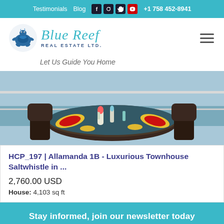Testimonials  Blog  +1 758 452-8941
[Figure (logo): Blue Reef Real Estate Ltd. logo with turtle graphic and teal script text]
Let Us Guide You Home
[Figure (photo): Outdoor dining table set with colorful place settings on a patio with ocean view]
HCP_197 | Allamanda 1B - Luxurious Townhouse Saltwhistle in ...
2,760.00 USD
House: 4,103 sq ft
Stay informed, join our newsletter today
Name